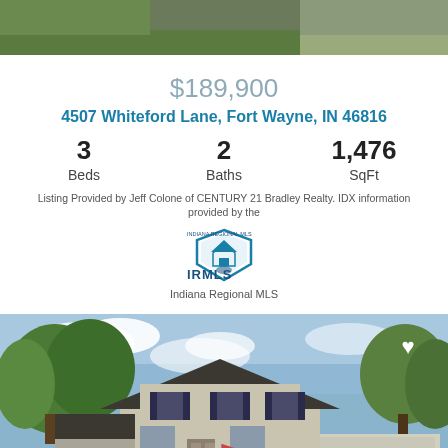[Figure (photo): Top portion of a property photo showing green grass and outdoor area]
$189,900
4507 Whiteford Lane, Fort Wayne, IN 46816
3 Beds
2 Baths
1,476 SqFt
Listing Provided by Jeff Colone of CENTURY 21 Bradley Realty. IDX information provided by the
[Figure (logo): IRMLS - Indiana Regional MLS logo with shield and house icon]
Indiana Regional MLS
[Figure (photo): Exterior photo of a two-story residential home with dark roof, white siding, attached garage, green lawn, blue sky with clouds and trees in background. A white heart icon overlay is visible in the upper right.]